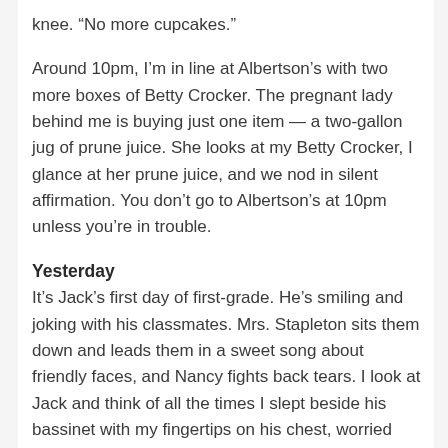knee. “No more cupcakes.”
Around 10pm, I’m in line at Albertson’s with two more boxes of Betty Crocker. The pregnant lady behind me is buying just one item — a two-gallon jug of prune juice. She looks at my Betty Crocker, I glance at her prune juice, and we nod in silent affirmation. You don’t go to Albertson’s at 10pm unless you’re in trouble.
Yesterday
It’s Jack’s first day of first-grade. He’s smiling and joking with his classmates. Mrs. Stapleton sits them down and leads them in a sweet song about friendly faces, and Nancy fights back tears. I look at Jack and think of all the times I slept beside his bassinet with my fingertips on his chest, worried he’d stop breathing, all the times I changed his